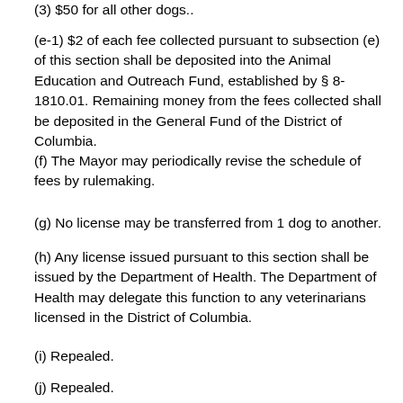(3) $50 for all other dogs..
(e-1) $2 of each fee collected pursuant to subsection (e) of this section shall be deposited into the Animal Education and Outreach Fund, established by § 8-1810.01. Remaining money from the fees collected shall be deposited in the General Fund of the District of Columbia.
(f) The Mayor may periodically revise the schedule of fees by rulemaking.
(g) No license may be transferred from 1 dog to another.
(h) Any license issued pursuant to this section shall be issued by the Department of Health. The Department of Health may delegate this function to any veterinarians licensed in the District of Columbia.
(i) Repealed.
(j) Repealed.